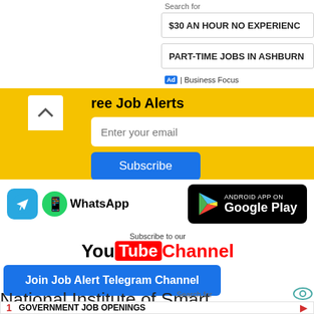Search for
$30 AN HOUR NO EXPERIENC
PART-TIME JOBS IN ASHBURN
Ad | Business Focus
[Figure (screenshot): Free Job Alerts yellow banner with email input and Subscribe button]
[Figure (screenshot): Telegram icon, WhatsApp icon and text, Google Play badge]
[Figure (screenshot): Subscribe to our YouTube Channel text with YouTube logo]
Join Job Alert Telegram Channel
National Institute of Smart
Search for
1  GOVERNMENT JOB OPENINGS
2  PART-TIME JOBS IN ASHBURN